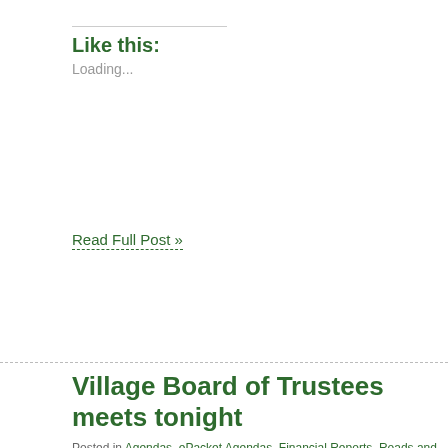Like this:
Loading...
Read Full Post »
Village Board of Trustees meets tonight
Posted in Agendas, ePacket Agendas, Financial Reports, Roads and Bridges, Uncateg… Village Attorney, Village Board, Village Clerk, Village Code, Village Government, Zonin… 24, 2020| Leave a Comment »
[Figure (photo): Photo of a church or community sign board displaying 'EVERYONE SEEMS NORMAL' with bare winter trees and a house visible in the background against a blue sky]